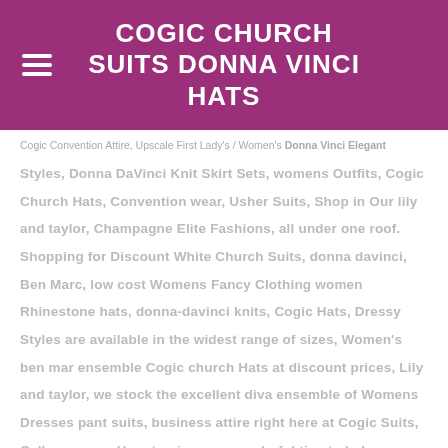COGIC CHURCH SUITS DONNA VINCI HATS
Cogic Convention Attire, Upscale First Lady's / Women's Donna Vinci Elegant Styles, Donna DaVinci Knit Skirt Sets, womens Outfits, Cogic Church Hats, Convention wear, Usher Suits, Shop in Our lily and taylor, Champagne Elite Fashions, all under one roof. Shopping for Discount White Church Suits, donna davinci, Ben Marc, low cost Womens Fancy Clothing women Rhinestone hats, donna-davinci knits, Cogic Hats, Dressy Styles are available in the widest range of sizes, Women's ben mar ensemble Cogic church Hats at discount prices, Lily and taylor, we stock the excellent diva ensemble of Womens Dresses pant suits, business attire right here at Cogic Suits, Call us we are Here to give you wonderful tips to help you with your cogic hats, Sunday Suits women's selection, From Cogic Church Suits, hats Donna Vinci, Ben Marc, Cogic Usher uniforms, High End to low end clothing for church, Our Womens Church Suits, offers thousands of First Ladies Church Wear, Extra low prices and